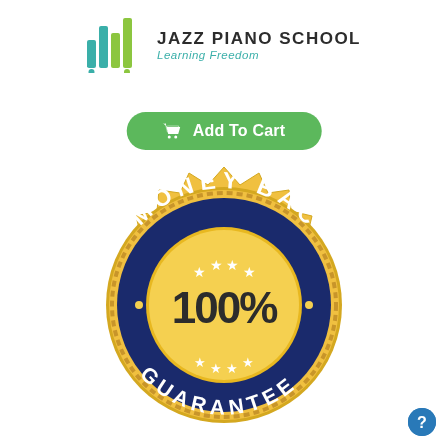[Figure (logo): Jazz Piano School logo with colorful bar chart icon and text 'JAZZ PIANO SCHOOL Learning Freedom']
[Figure (other): Green 'Add To Cart' button with shopping cart icon]
[Figure (other): Gold and navy blue money back guarantee badge reading 'MONEY BACK 100% GUARANTEE' with stars]
[Figure (other): Blue circular help/info button in bottom right corner]